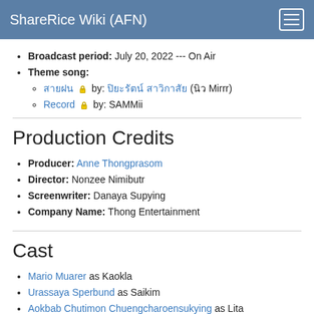ShareRice Wiki (AFN)
Broadcast period: July 20, 2022 --- On Air
Theme song:
[Thai text] by: [Thai text] (นิว Mirrr)
Record by: SAMMii
Production Credits
Producer: Anne Thongprasom
Director: Nonzee Nimibutr
Screenwriter: Danaya Supying
Company Name: Thong Entertainment
Cast
Mario Muarer as Kaokla
Urassaya Sperbund as Saikim
Aokbab Chutimon Chuengcharoensukying as Lita
Thatchathon Subanun (Pon) as Tanthai